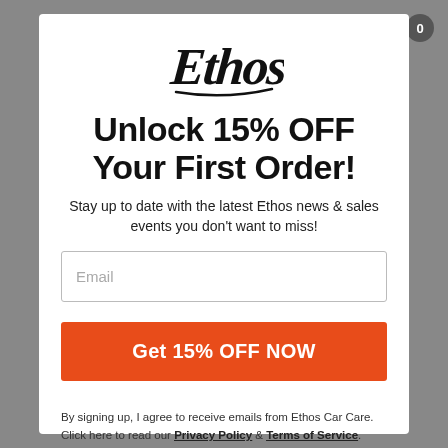[Figure (logo): Ethos brand logo in cursive/script style black lettering with underline]
Unlock 15% OFF Your First Order!
Stay up to date with the latest Ethos news & sales events you don't want to miss!
Email (input field placeholder)
Get 15% OFF NOW (button)
By signing up, I agree to receive emails from Ethos Car Care. Click here to read our Privacy Policy & Terms of Service.